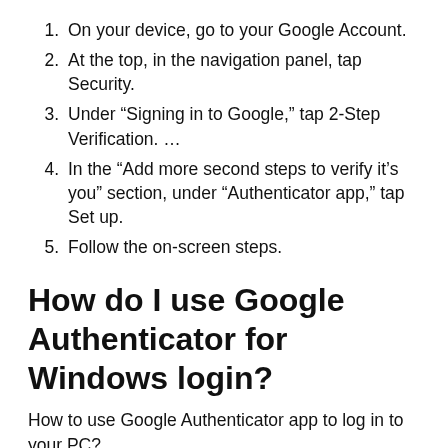On your device, go to your Google Account.
At the top, in the navigation panel, tap Security.
Under “Signing in to Google,” tap 2-Step Verification. …
In the “Add more second steps to verify it’s you” section, under “Authenticator app,” tap Set up.
Follow the on-screen steps.
How do I use Google Authenticator for Windows login?
How to use Google Authenticator app to log in to your PC?